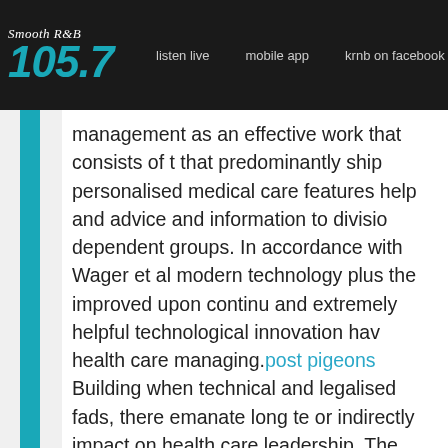Smooth R&B 105.7 | listen live | mobile app | krnb on facebook | last 10 songs
management as an effective work that consists of that predominantly ship personalised medical care features help and advice and information to division dependent groups. In accordance with Wager et al modern technology plus the improved upon continuum and extremely helpful technological innovation have health care managing. post pigeons Building when technical and legalised fads, there emanate long term or indirectly impact on health care leadership. The targeted at inspecting the long term difficulties of h
Worldwide deficiency of proficient medical workforce problem for health-related leadership. Based on a health Institution (2013), around the world, there wi